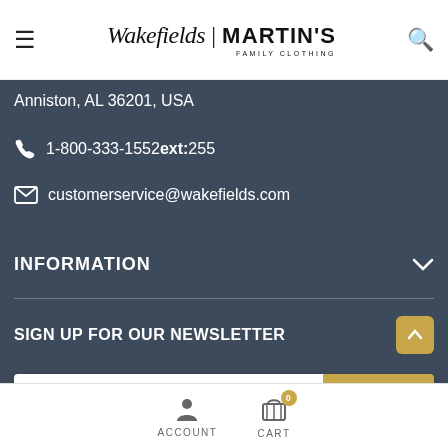[Figure (logo): Wakefields | Martin's Family Clothing logo with hamburger menu and search icon]
Anniston, AL 36201, USA
1-800-333-1552 ext:255
customerservice@wakefields.com
INFORMATION
SIGN UP FOR OUR NEWSLETTER
Enter your email
Subscribe
ACCOUNT
CART